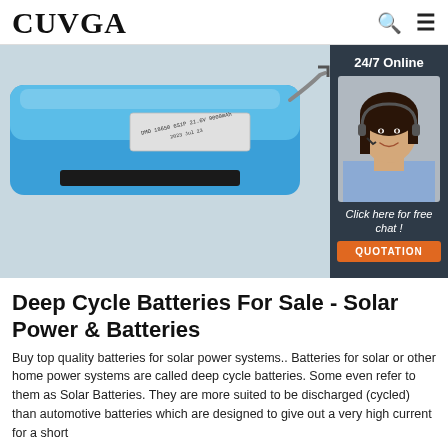CUVGA
[Figure (photo): Blue lithium battery pack with a label showing specifications, photographed on a light surface. A wire is visible at the right side.]
[Figure (photo): Customer service agent (woman with headset and dark hair, wearing a blue shirt) with '24/7 Online' label above and 'Click here for free chat!' and 'QUOTATION' button below, on a dark background panel.]
Deep Cycle Batteries For Sale - Solar Power & Batteries
Buy top quality batteries for solar power systems.. Batteries for solar or other home power systems are called deep cycle batteries. Some even refer to them as Solar Batteries. They are more suited to be discharged (cycled) than automotive batteries which are designed to give out a very high current for a short